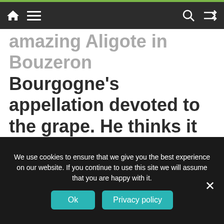[Navigation bar with home, menu, search, and shuffle icons]
amazing Aligote in Bouzeron Bourgogne's appellation devoted to the grape. He thinks it could be important in the future of the region.
The next stop in my explorations in Bourgogne was to the village of Bouzeron, to visit Les Champs de Thémis. This is the domaine of Xavier Moissenet (pictured above), who started as a winegrower in 2014.
We use cookies to ensure that we give you the best experience on our website. If you continue to use this site we will assume that you are happy with it.